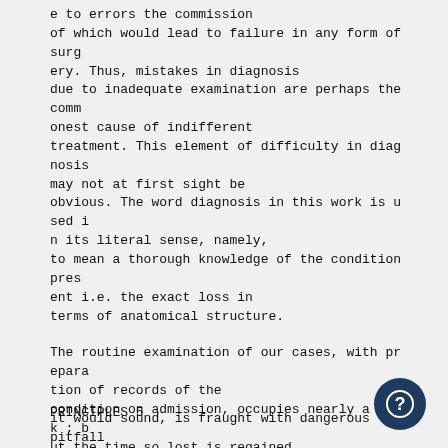e to errors the commission of which would lead to failure in any form of surgery. Thus, mistakes in diagnosis due to inadequate examination are perhaps the commonest cause of indifferent treatment. This element of difficulty in diagnosis may not at first sight be obvious. The word diagnosis in this work is used in its literal sense, namely, to mean a thorough knowledge of the condition present i.e. the exact loss in terms of anatomical structure.
The routine examination of our cases, with preparation of records of the condition on admission, occupies nearly a week ; but the time so lost is regained a hundredfold. The examination merely of the surface of. the lesion, simple as
PRINCIPLES 5
it would sound, is fraught with dangerous pitfall